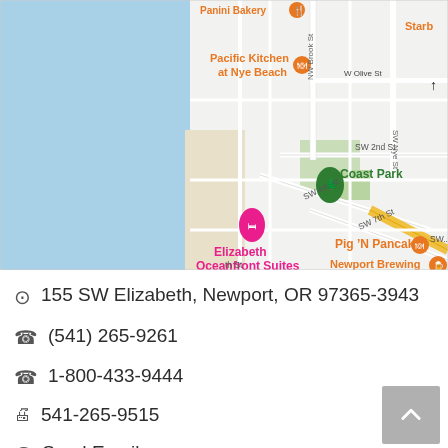[Figure (map): Google Maps screenshot showing Elizabeth Oceanfront Suites at Newport, OR, with nearby landmarks including Pacific Kitchen at Nye Beach, Coast Park, Pig 'N Pancake, Newport Brewing, and Starbucks. Streets visible include SW 2nd St, SW 4th St, SW 7th St, W Olive St, NW Brook St, SW Nye St.]
155 SW Elizabeth, Newport, OR 97365-3943
(541) 265-9261
1-800-433-9444
541-265-9515
Send Email
Visit Website